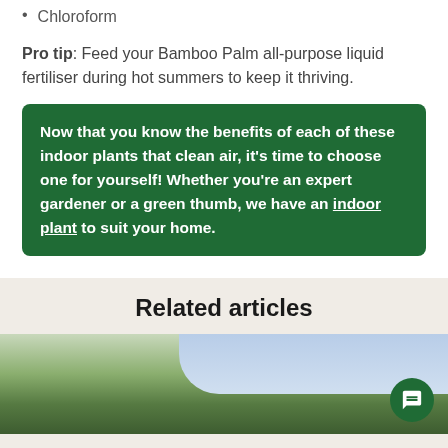Chloroform
Pro tip: Feed your Bamboo Palm all-purpose liquid fertiliser during hot summers to keep it thriving.
Now that you know the benefits of each of these indoor plants that clean air, it's time to choose one for yourself! Whether you're an expert gardener or a green thumb, we have an indoor plant to suit your home.
Related articles
[Figure (photo): Outdoor photo of tall trees with a partly cloudy sky, shown cropped at the bottom of the page under the Related articles section.]